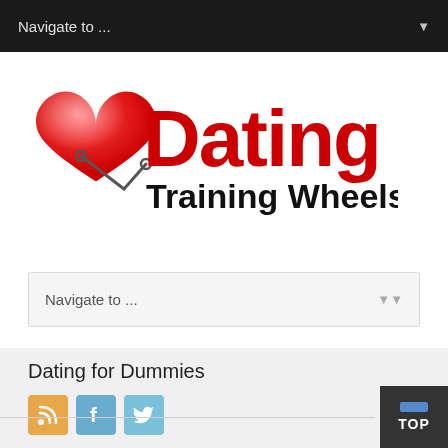Navigate to ...
[Figure (logo): Dating Training Wheels logo with red heart and stethoscope design, red bold 'Dating' text and black 'Training Wheels' text]
Navigate to ...
Dating for Dummies
[Figure (infographic): Three social media icon buttons: RSS (orange), Facebook (blue), Twitter (light blue)]
TOP